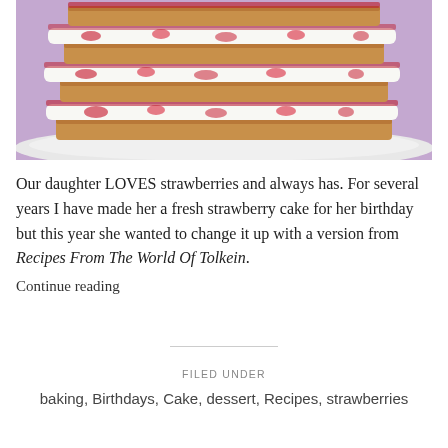[Figure (photo): A close-up photo of a layered strawberry cake with cream and strawberry jam filling between multiple sponge cake layers, sitting on a white plate against a purple/pink background.]
Our daughter LOVES strawberries and always has. For several years I have made her a fresh strawberry cake for her birthday but this year she wanted to change it up with a version from Recipes From The World Of Tolkein.
Continue reading
FILED UNDER
baking, Birthdays, Cake, dessert, Recipes, strawberries